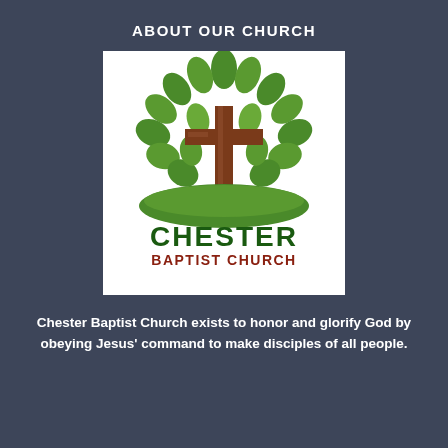ABOUT OUR CHURCH
[Figure (logo): Chester Baptist Church logo: a stylized tree with green leaves surrounding a brown wooden cross, sitting on a green hill, with 'CHESTER' in large dark green letters and 'BAPTIST CHURCH' in dark red letters below.]
Chester Baptist Church exists to honor and glorify God by obeying Jesus' command to make disciples of all people.